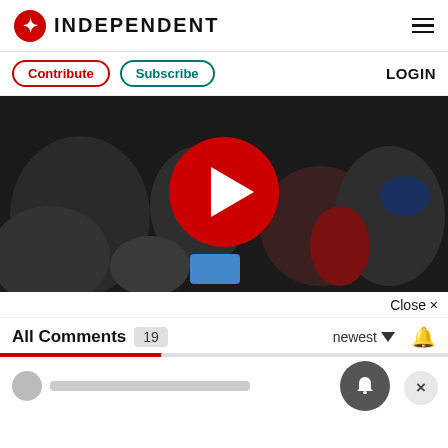INDEPENDENT
Contribute  Subscribe  LOGIN
[Figure (screenshot): Video player showing crowd at a sports event with a large red play button in the center]
Close ×
All Comments 19  newest  🔔
[Figure (other): Comment input area with avatar circle and placeholder bar, notification bell overlay and close button]